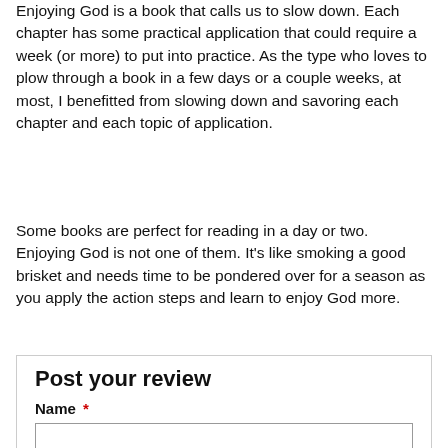Enjoying God is a book that calls us to slow down. Each chapter has some practical application that could require a week (or more) to put into practice. As the type who loves to plow through a book in a few days or a couple weeks, at most, I benefitted from slowing down and savoring each chapter and each topic of application.
Some books are perfect for reading in a day or two. Enjoying God is not one of them. It's like smoking a good brisket and needs time to be pondered over for a season as you apply the action steps and learn to enjoy God more.
Post your review
Name *